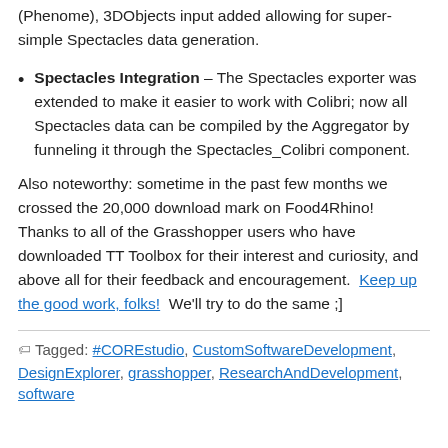(Phenome), 3DObjects input added allowing for super-simple Spectacles data generation.
Spectacles Integration – The Spectacles exporter was extended to make it easier to work with Colibri; now all Spectacles data can be compiled by the Aggregator by funneling it through the Spectacles_Colibri component.
Also noteworthy: sometime in the past few months we crossed the 20,000 download mark on Food4Rhino!  Thanks to all of the Grasshopper users who have downloaded TT Toolbox for their interest and curiosity, and above all for their feedback and encouragement.  Keep up the good work, folks!  We'll try to do the same ;]
Tagged: #COREstudio, CustomSoftwareDevelopment, DesignExplorer, grasshopper, ResearchAndDevelopment, software